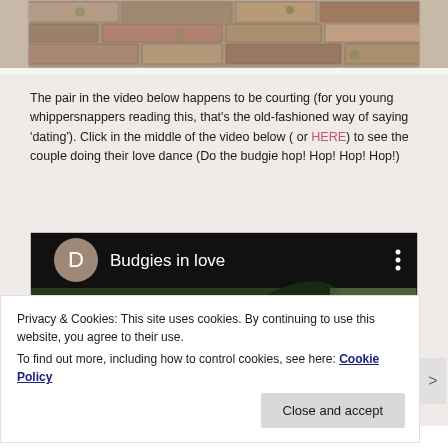[Figure (photo): Top portion of a stone/brick wall texture image, partially cropped]
The pair in the video below happens to be courting (for you young whippersnappers reading this, that's the old-fashioned way of saying 'dating'). Click in the middle of the video below ( or HERE) to see the couple doing their love dance (Do the budgie hop! Hop! Hop! Hop!)
[Figure (screenshot): Video thumbnail titled 'Budgies in love' with a circular D avatar icon on dark background, showing green foliage below]
Privacy & Cookies: This site uses cookies. By continuing to use this website, you agree to their use.
To find out more, including how to control cookies, see here: Cookie Policy